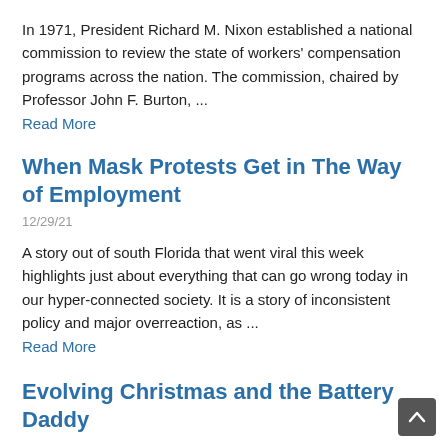In 1971, President Richard M. Nixon established a national commission to review the state of workers' compensation programs across the nation. The commission, chaired by Professor John F. Burton, ...
Read More
When Mask Protests Get in The Way of Employment
12/29/21
A story out of south Florida that went viral this week highlights just about everything that can go wrong today in our hyper-connected society. It is a story of inconsistent policy and major overreaction, as ...
Read More
Evolving Christmas and the Battery Daddy